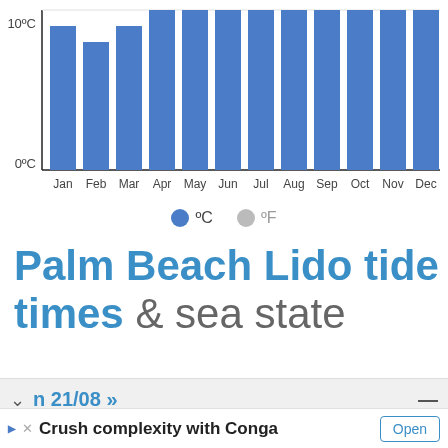[Figure (bar-chart): Sea temperature (°C)]
°C  °F
Palm Beach Lido tide times & sea state
n 21/08 »
Crush complexity with Conga Predictable business growth, driven by aligned processes, teams, and technology. Conga